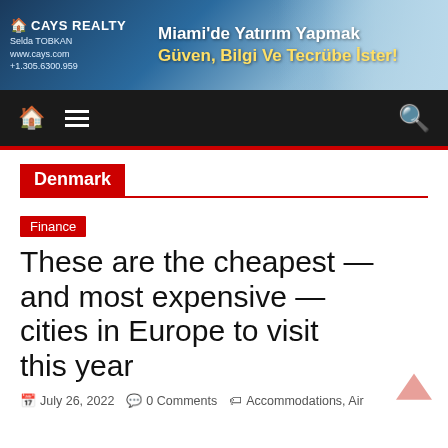[Figure (photo): Banner advertisement for CAYS REALTY with text 'Miami'de Yatırım Yapmak Güven, Bilgi Ve Tecrübe İster!' featuring a woman and Miami beach/property imagery]
[Figure (screenshot): Navigation bar with home icon, hamburger menu icon on dark background, and search icon on right]
Denmark
Finance
These are the cheapest — and most expensive — cities in Europe to visit this year
July 26, 2022  0 Comments  Accommodations, Air